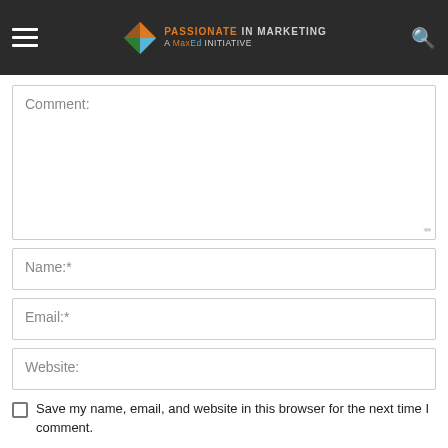Passionate in Marketing – A MaxEd Initiative
Comment:
Name:*
Email:*
Website:
Save my name, email, and website in this browser for the next time I comment.